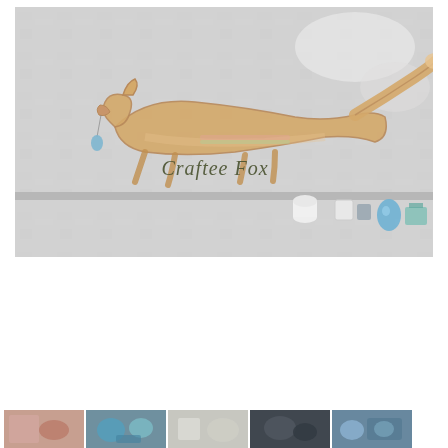[Figure (photo): Large banner/header image for 'Craftee Fox' brand. Shows a decorative fox illustration (tan/orange drawn fox leaping/running) overlaid on a photograph of craft supplies on a concrete/stone surface. The fox logo has 'Craftee Fox' written in cursive/script text in olive green beneath it. Background shows blurred craft items including blue beads/jewelry components and small geometric shapes. The overall tone is light grey/white with artistic watercolor-style overlays.]
[Figure (photo): Thumbnail image 1 of 5: small photo showing craft/jewelry items, reddish tones.]
[Figure (photo): Thumbnail image 2 of 5: small photo showing blue and teal jewelry/craft pieces close-up.]
[Figure (photo): Thumbnail image 3 of 5: small photo showing light-colored craft items on surface.]
[Figure (photo): Thumbnail image 4 of 5: small photo showing dark jewelry pieces.]
[Figure (photo): Thumbnail image 5 of 5: small photo showing colorful craft materials.]